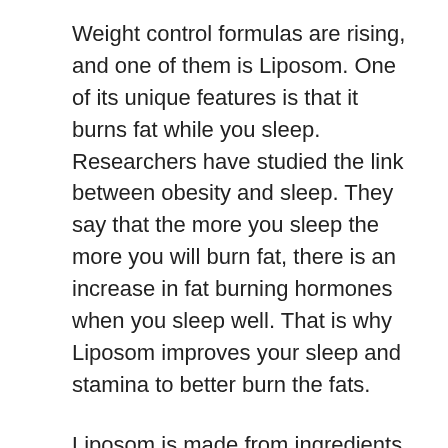Weight control formulas are rising, and one of them is Liposom. One of its unique features is that it burns fat while you sleep. Researchers have studied the link between obesity and sleep. They say that the more you sleep the more you will burn fat, there is an increase in fat burning hormones when you sleep well. That is why Liposom improves your sleep and stamina to better burn the fats.
Liposom is made from ingredients that are proven effective in weight loss. It is composed mainly of green tea, gymnema leaf, yerba mate, guarana seed and nopal cactus. Each has its own qualities that contribute to the effectiveness of the product. They are rich in antioxidants, balance the glucose in our body, reduce fatigue and suppress the appetite. It also contains Lipotropic agents, which helps in fat